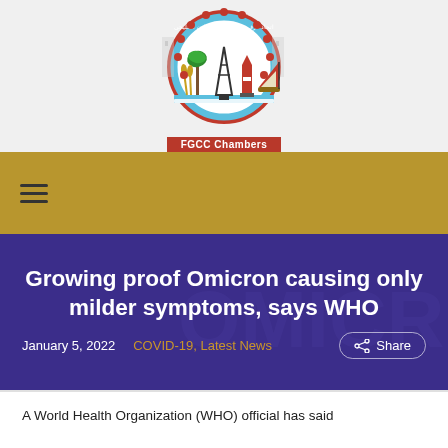[Figure (logo): FGCC Chambers circular logo with Arabic text, lighthouse, oil derrick, ship, palm tree, and wheat motifs. Red gear border with blue and red circular band. 'FGCC Chambers' label in red banner below.]
Growing proof Omicron causing only milder symptoms, says WHO
January 5, 2022  COVID-19, Latest News  Share
A World Health Organization (WHO) official has said